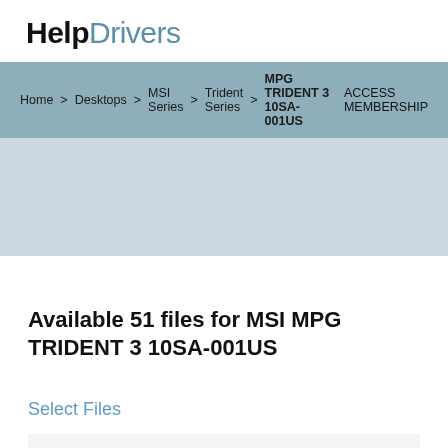HelpDrivers
Home > Desktops > MSI Series > Trident Series > MPG TRIDENT 3 10SA-001US  ACCESS MEMBERSHIP
[Figure (other): Advertisement or placeholder image area (blue-gray rectangle)]
Available 51 files for MSI MPG TRIDENT 3 10SA-001US
Select Files
| Company |  |
| --- | --- |
| Company | MSI |